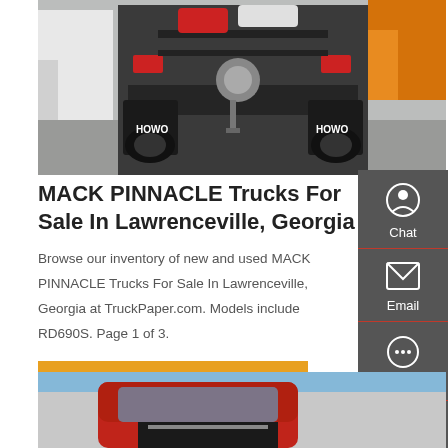[Figure (photo): Rear view of a HOWO truck in a lot with other vehicles visible]
MACK PINNACLE Trucks For Sale In Lawrenceville, Georgia
Browse our inventory of new and used MACK PINNACLE Trucks For Sale In Lawrenceville, Georgia at TruckPaper.com. Models include RD690S. Page 1 of 3.
[Figure (photo): Partial view of a red Mack truck against a blue sky and building]
Chat
Email
Contact
Top